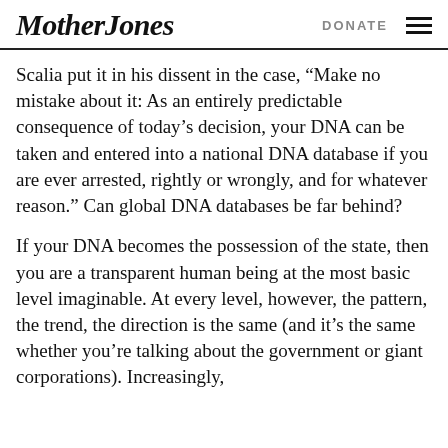Mother Jones  DONATE
Scalia put it in his dissent in the case, “Make no mistake about it: As an entirely predictable consequence of today’s decision, your DNA can be taken and entered into a national DNA database if you are ever arrested, rightly or wrongly, and for whatever reason.” Can global DNA databases be far behind?
If your DNA becomes the possession of the state, then you are a transparent human being at the most basic level imaginable. At every level, however, the pattern, the trend, the direction is the same (and it’s the same whether you’re talking about the government or giant corporations). Increasingly,